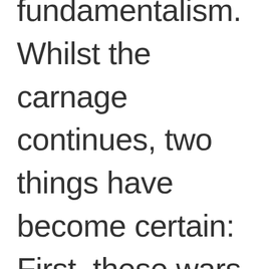fundamentalism. Whilst the carnage continues, two things have become certain: First, these wars are the result of